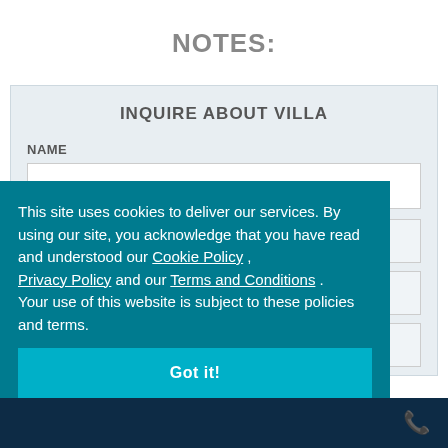NOTES:
INQUIRE ABOUT VILLA
NAME
Your Name*
This site uses cookies to deliver our services. By using our site, you acknowledge that you have read and understood our Cookie Policy , Privacy Policy and our Terms and Conditions . Your use of this website is subject to these policies and terms.
Got it!